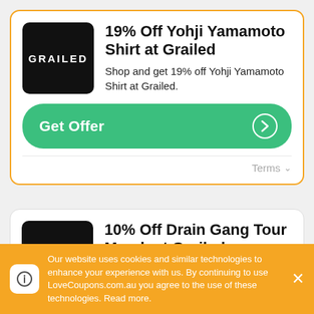[Figure (logo): Grailed black logo box with white text]
19% Off Yohji Yamamoto Shirt at Grailed
Shop and get 19% off Yohji Yamamoto Shirt at Grailed.
Get Offer →
Terms ∨
[Figure (logo): Grailed black logo box with white text]
10% Off Drain Gang Tour Merch at Grailed
Shop and get 10% off Drain Gang Tour
Our website uses cookies and similar technologies to enhance your experience with us. By continuing to use LoveCoupons.com.au you agree to the use of these technologies. Read more.